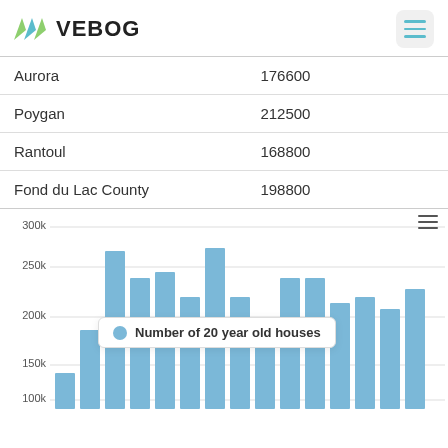VEBOG
| Aurora | 176600 |
| Poygan | 212500 |
| Rantoul | 168800 |
| Fond du Lac County | 198800 |
[Figure (bar-chart): Number of 20 year old houses]